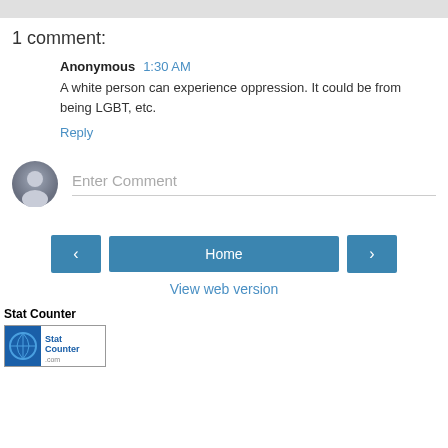1 comment:
Anonymous  1:30 AM
A white person can experience oppression. It could be from being LGBT, etc.
Reply
Enter Comment
Home
View web version
Stat Counter
[Figure (logo): StatCounter logo with globe icon]